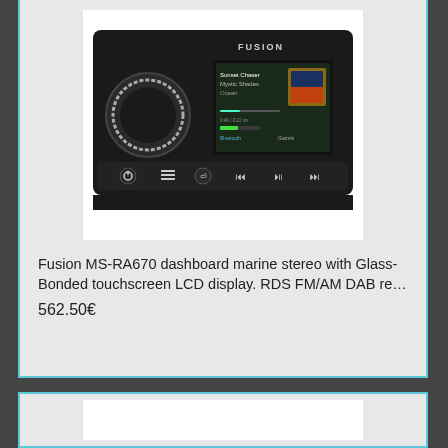[Figure (photo): Fusion MS-RA670 marine stereo unit shown head-on, black rectangular device with large circular volume knob on left, color LCD screen in center showing music info, and media control buttons along the bottom]
Fusion MS-RA670 dashboard marine stereo with Glass-Bonded touchscreen LCD display. RDS FM/AM DAB re…
562.50€
[Figure (photo): Partial view of a second product card at bottom, white image area visible]